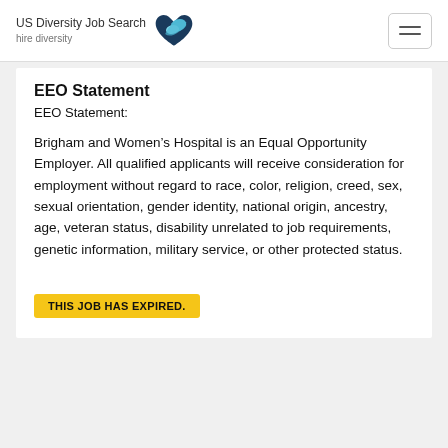US Diversity Job Search hire diversity
EEO Statement
EEO Statement:
Brigham and Women’s Hospital is an Equal Opportunity Employer. All qualified applicants will receive consideration for employment without regard to race, color, religion, creed, sex, sexual orientation, gender identity, national origin, ancestry, age, veteran status, disability unrelated to job requirements, genetic information, military service, or other protected status.
THIS JOB HAS EXPIRED.